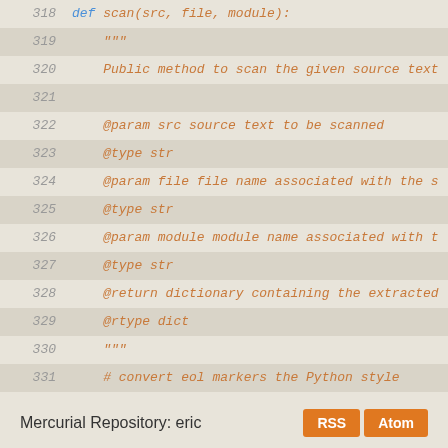[Figure (screenshot): Python source code viewer showing lines 318-339 of a file, with line numbers, syntax highlighting in orange/italic, and blue keywords. Code shows a 'scan' method with docstring and implementation.]
Mercurial Repository: eric  [RSS] [Atom]